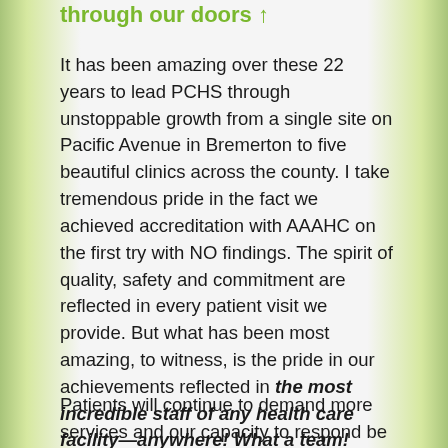through our doors ↑
It has been amazing over these 22 years to lead PCHS through unstoppable growth from a single site on Pacific Avenue in Bremerton to five beautiful clinics across the county. I take tremendous pride in the fact we achieved accreditation with AAAHC on the first try with NO findings. The spirit of quality, safety and commitment are reflected in every patient visit we provide. But what has been most amazing, to witness, is the pride in our achievements reflected in the most incredible staff of any health care facility—anywhere! What a team!
Patients will continue to demand more services and our capacity to respond be